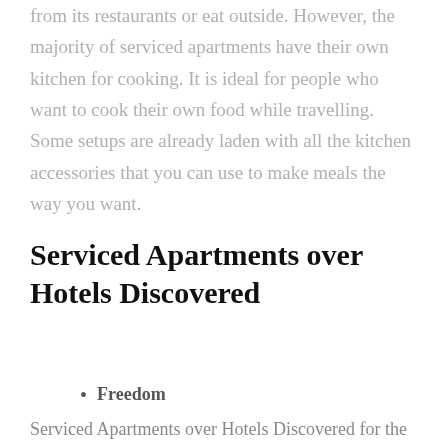from its restaurants or eat outside. However, the majority of serviced apartments have their own kitchen for cooking. It is ideal for people who want to cook their own food while travelling. Some setups are already laden with all the kitchen accessories that you can use to make meals the way you want.
Serviced Apartments over Hotels Discovered
Freedom
Serviced Apartments over Hotels Discovered for the travelling families convenience. The Serviced